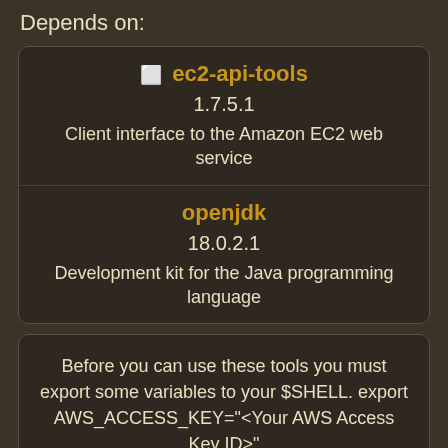Depends on:
| ec2-api-tools | 1.7.5.1 | Client interface to the Amazon EC2 web service |
| openjdk | 18.0.2.1 | Development kit for the Java programming language |
Before you can use these tools you must export some variables to your $SHELL. export AWS_ACCESS_KEY="<Your AWS Access Key ID>"